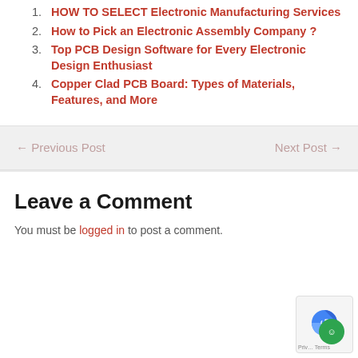HOW TO SELECT Electronic Manufacturing Services
How to Pick an Electronic Assembly Company ?
Top PCB Design Software for Every Electronic Design Enthusiast
Copper Clad PCB Board: Types of Materials, Features, and More
← Previous Post    Next Post →
Leave a Comment
You must be logged in to post a comment.